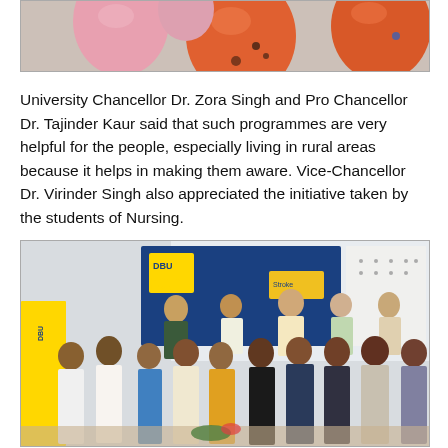[Figure (photo): Partial image of balloons (pink and orange) from an event, cropped at top of page.]
University Chancellor Dr. Zora Singh and Pro Chancellor Dr. Tajinder Kaur said that such programmes are very helpful for the people, especially living in rural areas because it helps in making them aware. Vice-Chancellor Dr. Virinder Singh also appreciated the initiative taken by the students of Nursing.
[Figure (photo): Group photo of students and faculty at Desh Bhagat University event. A Desh Bhagat University banner/backdrop is visible. Participants are standing in two rows.]